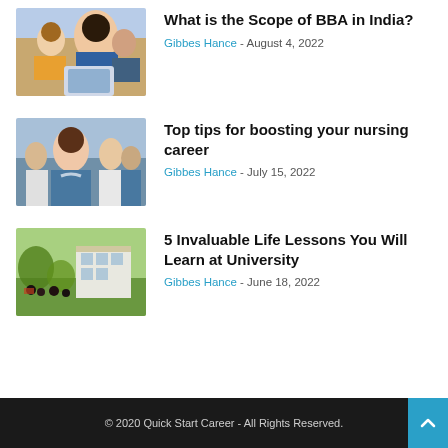[Figure (photo): Students looking at a laptop together, smiling]
What is the Scope of BBA in India?
Gibbes Hance - August 4, 2022
[Figure (photo): Female nurse in blue scrubs with stethoscope, medical team behind]
Top tips for boosting your nursing career
Gibbes Hance - July 15, 2022
[Figure (photo): University campus lawn with students relaxing, trees and buildings]
5 Invaluable Life Lessons You Will Learn at University
Gibbes Hance - June 18, 2022
© 2020 Quick Start Career - All Rights Reserved.